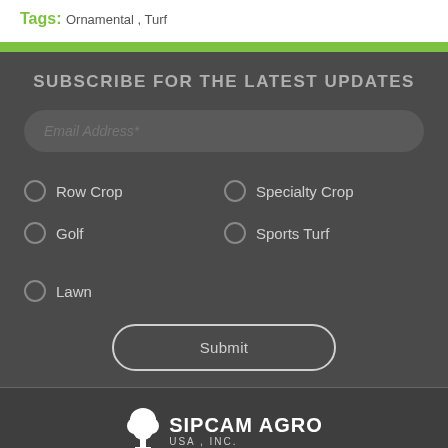Tags:  Ornamental ,  Turf
SUBSCRIBE FOR THE LATEST UPDATES
Row Crop
Specialty Crop
Golf
Sports Turf
Lawn
Submit
[Figure (logo): Sipcam Agro USA, Inc. logo with tree icon]